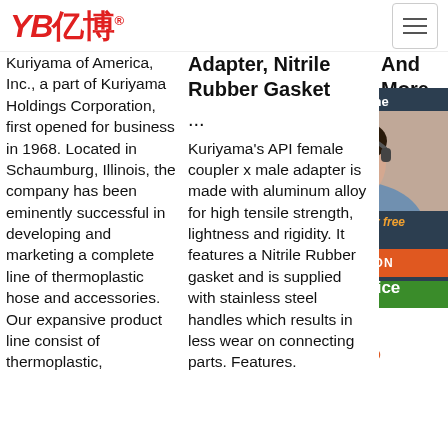YB亿博® [logo] | hamburger menu
Kuriyama of America, Inc., a part of Kuriyama Holdings Corporation, first opened for business in 1968. Located in Schaumburg, Illinois, the company has been eminently successful in developing and marketing a complete line of thermoplastic hose and accessories. Our expansive product line consist of thermoplastic,
Adapter, Nitrile Rubber Gasket
...
Kuriyama's API female coupler x male adapter is made with aluminum alloy for high tensile strength, lightness and rigidity. It features a Nitrile Rubber gasket and is supplied with stainless steel handles which results in less wear on connecting parts. Features.
And More
Kur T50 Che UHi 240 and Hos Fen Fen MS
[Figure (photo): Customer service representative with headset, smiling. Dark background with '24/7 Online' text, 'Click here for free chat!' text in orange, and orange 'QUOTATION' button below.]
[Figure (other): Green 'Get Price' button and orange 'TOP' text with decorative dots above it.]